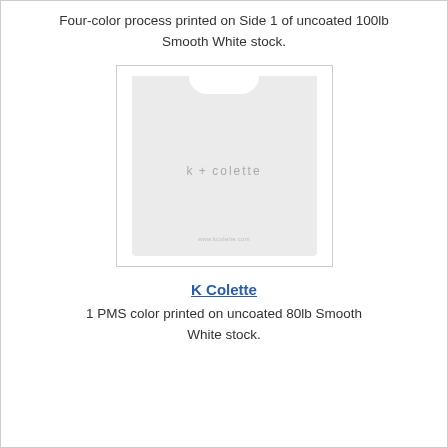Four-color process printed on Side 1 of uncoated 100lb Smooth White stock.
[Figure (illustration): A card sleeve product shown from the front. Light gray sleeve with a notch cutout at the top center and the logo 'k+colette' printed in the center in light gray text, with a small URL text at the bottom.]
K Colette
1 PMS color printed on uncoated 80lb Smooth White stock.